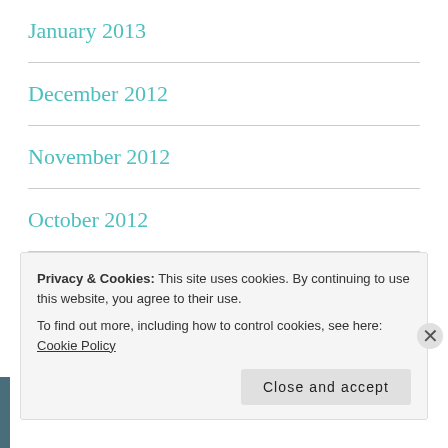January 2013
December 2012
November 2012
October 2012
June 2012
March 2012
Privacy & Cookies: This site uses cookies. By continuing to use this website, you agree to their use.
To find out more, including how to control cookies, see here: Cookie Policy
Close and accept